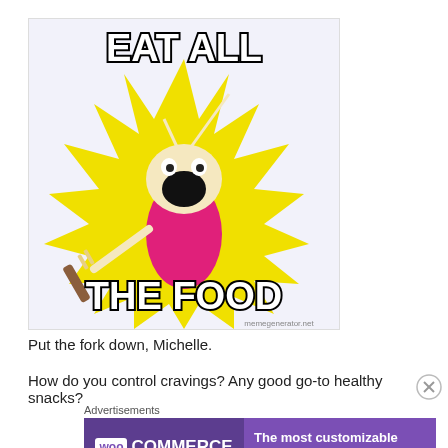[Figure (illustration): Internet meme 'Eat All The Things' / 'Eat All The Food' — white background with yellow starburst, cartoon character with open mouth holding a fork/item, bold outlined text 'EAT ALL' at top and 'THE FOOD' at bottom, watermark 'memegenerator.net']
Put the fork down, Michelle.
How do you control cravings?  Any good go-to healthy snacks?
Advertisements
[Figure (screenshot): WooCommerce advertisement banner — purple background, WooCommerce logo on left, text 'The most customizable eCommerce platform' on right]